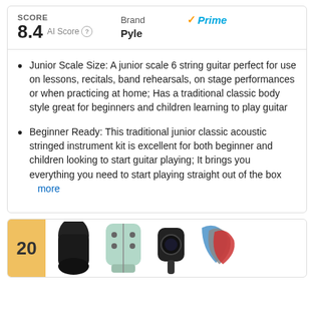SCORE 8.4 AI Score | Brand ✓Prime Pyle
Junior Scale Size: A junior scale 6 string guitar perfect for use on lessons, recitals, band rehearsals, on stage performances or when practicing at home; Has a traditional classic body style great for beginners and children learning to play guitar
Beginner Ready: This traditional junior classic acoustic stringed instrument kit is excellent for both beginner and children looking to start guitar playing; It brings you everything you need to start playing straight out of the box   more
[Figure (other): Bottom card showing rank badge '20' and product images of guitar accessories]